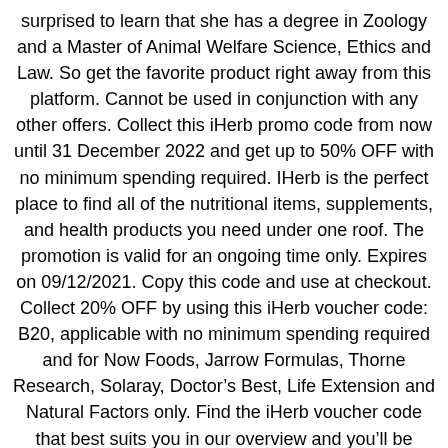surprised to learn that she has a degree in Zoology and a Master of Animal Welfare Science, Ethics and Law. So get the favorite product right away from this platform. Cannot be used in conjunction with any other offers. Collect this iHerb promo code from now until 31 December 2022 and get up to 50% OFF with no minimum spending required. IHerb is the perfect place to find all of the nutritional items, supplements, and health products you need under one roof. The promotion is valid for an ongoing time only. Expires on 09/12/2021. Copy this code and use at checkout. Collect 20% OFF by using this iHerb voucher code: B20, applicable with no minimum spending required and for Now Foods, Jarrow Formulas, Thorne Research, Solaray, Doctor's Best, Life Extension and Natural Factors only. Find the iHerb voucher code that best suits you in our overview and you'll be redirected to their website. Hurry up and order now. Choose from respected brands like Rainbow Light, Doctor's Best, Natural Factors, Nature's Way and Jarrow Formulas. 69 products valid until September 15, 2021, 10:00 a. Receive